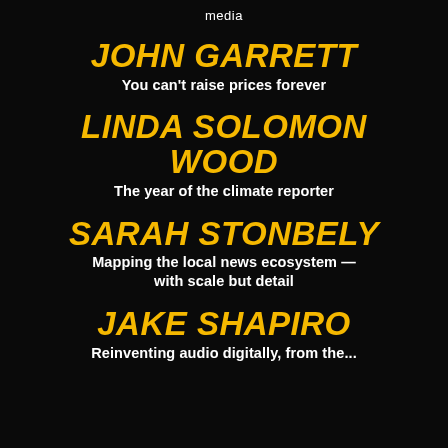media
JOHN GARRETT
You can't raise prices forever
LINDA SOLOMON WOOD
The year of the climate reporter
SARAH STONBELY
Mapping the local news ecosystem — with scale but detail
JAKE SHAPIRO
Reinventing audio digitally, from the...